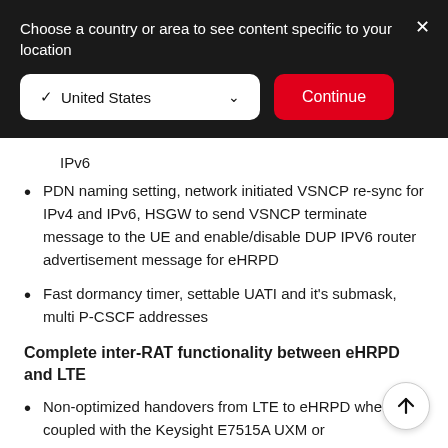Choose a country or area to see content specific to your location
✓ United States
Continue
IPv6
PDN naming setting, network initiated VSNCP re-sync for IPv4 and IPv6, HSGW to send VSNCP terminate message to the UE and enable/disable DUP IPV6 router advertisement message for eHRPD
Fast dormancy timer, settable UATI and it's submask, multi P-CSCF addresses
Complete inter-RAT functionality between eHRPD and LTE
Non-optimized handovers from LTE to eHRPD when coupled with the Keysight E7515A UXM or